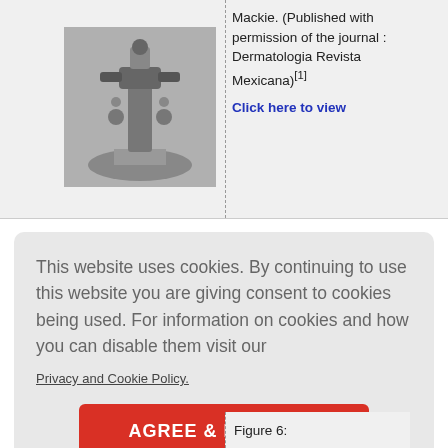[Figure (photo): Black and white photograph of a scientific/medical instrument (appears to be a microscope or dermatoscope) on a round base]
Mackie. (Published with permission of the journal : Dermatologia Revista Mexicana)[1]

Click here to view
This website uses cookies. By continuing to use this website you are giving consent to cookies being used. For information on cookies and how you can disable them visit our
Privacy and Cookie Policy.
AGREE & PROCEED
Figure 6: